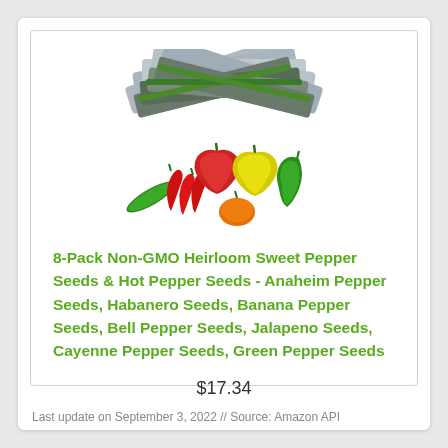[Figure (photo): Product image showing seed packet collection arranged in a fan shape above a colorful assortment of peppers including red, green, yellow, and orange bell peppers, jalapeños, habaneros, and cayenne peppers.]
8-Pack Non-GMO Heirloom Sweet Pepper Seeds & Hot Pepper Seeds - Anaheim Pepper Seeds, Habanero Seeds, Banana Pepper Seeds, Bell Pepper Seeds, Jalapeno Seeds, Cayenne Pepper Seeds, Green Pepper Seeds
$17.34
Last update on September 3, 2022 // Source: Amazon API